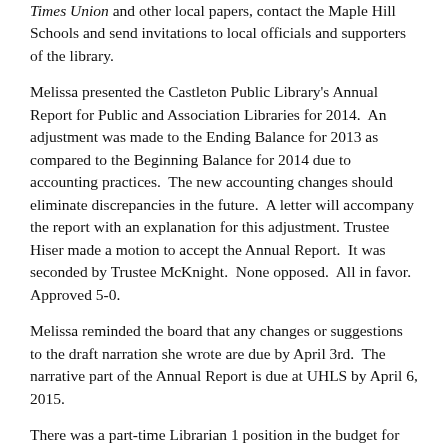Times Union and other local papers, contact the Maple Hill Schools and send invitations to local officials and supporters of the library.
Melissa presented the Castleton Public Library's Annual Report for Public and Association Libraries for 2014. An adjustment was made to the Ending Balance for 2013 as compared to the Beginning Balance for 2014 due to accounting practices. The new accounting changes should eliminate discrepancies in the future. A letter will accompany the report with an explanation for this adjustment. Trustee Hiser made a motion to accept the Annual Report. It was seconded by Trustee McKnight. None opposed. All in favor. Approved 5-0.
Melissa reminded the board that any changes or suggestions to the draft narration she wrote are due by April 3rd. The narrative part of the Annual Report is due at UHLS by April 6, 2015.
There was a part-time Librarian 1 position in the budget for 2014 that was filled for most of 2014. The position is accounted for in the budget for 2015. Melissa would like to start the process with Civil